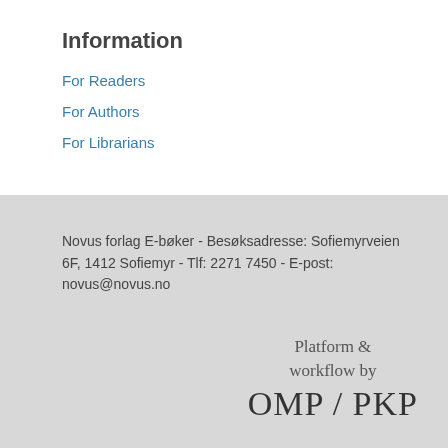Information
For Readers
For Authors
For Librarians
Novus forlag E-bøker - Besøksadresse: Sofiemyrveien 6F, 1412 Sofiemyr - Tlf: 2271 7450 - E-post: novus@novus.no
Platform & workflow by OMP / PKP